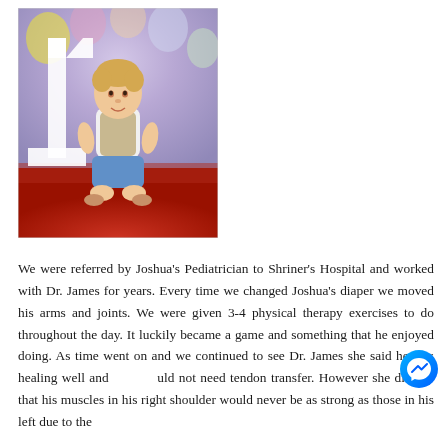[Figure (photo): A toddler (approximately 1 year old) sitting on a red surface in front of a large white number '1' decoration, with balloons in the background. The child has light hair and is wearing a white shirt and blue shorts.]
We were referred by Joshua's Pediatrician to Shriner's Hospital and worked with Dr. James for years. Every time we changed Joshua's diaper we moved his arms and joints. We were given 3-4 physical therapy exercises to do throughout the day. It luckily became a game and something that he enjoyed doing. As time went on and we continued to see Dr. James she said he was healing well and would not need tendon transfer. However she did say that his muscles in his right shoulder would never be as strong as those in his left due to the